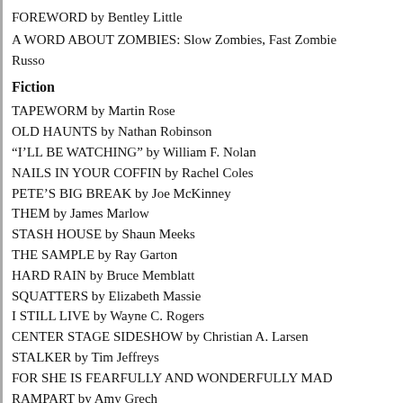FOREWORD by Bentley Little
A WORD ABOUT ZOMBIES: Slow Zombies, Fast Zombies by Russo
Fiction
TAPEWORM by Martin Rose
OLD HAUNTS by Nathan Robinson
“I’LL BE WATCHING” by William F. Nolan
NAILS IN YOUR COFFIN by Rachel Coles
PETE’S BIG BREAK by Joe McKinney
THEM by James Marlow
STASH HOUSE by Shaun Meeks
THE SAMPLE by Ray Garton
HARD RAIN by Bruce Memblatt
SQUATTERS by Elizabeth Massie
I STILL LIVE by Wayne C. Rogers
CENTER STAGE SIDESHOW by Christian A. Larsen
STALKER by Tim Jeffreys
FOR SHE IS FEARFULLY AND WONDERFULLY MADE
RAMPART by Amy Grech